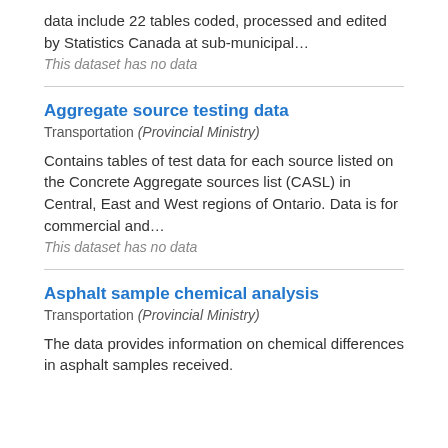data include 22 tables coded, processed and edited by Statistics Canada at sub-municipal…
This dataset has no data
Aggregate source testing data
Transportation (Provincial Ministry)
Contains tables of test data for each source listed on the Concrete Aggregate sources list (CASL) in Central, East and West regions of Ontario. Data is for commercial and…
This dataset has no data
Asphalt sample chemical analysis
Transportation (Provincial Ministry)
The data provides information on chemical differences in asphalt samples received.